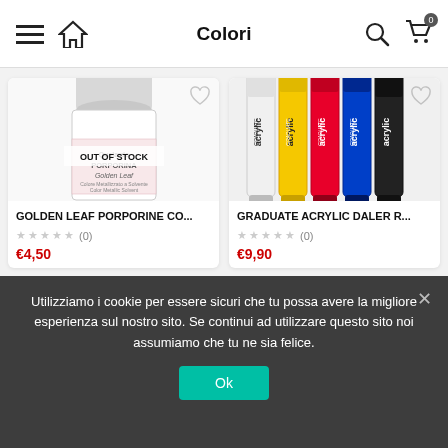Colori
[Figure (photo): Product image of Golden Leaf Porporine metallic paint jar with white cap and 'OUT OF STOCK' overlay]
GOLDEN LEAF PORPORINE CO...
★★★★★ (0)
€4,50
[Figure (photo): Product image showing Graduate Acrylic Daler Rowney paint tubes in white, yellow, red, blue, and black]
GRADUATE ACRYLIC DALER R...
★★★★★ (0)
€9,90
Utilizziamo i cookie per essere sicuri che tu possa avere la migliore esperienza sul nostro sito. Se continui ad utilizzare questo sito noi assumiamo che tu ne sia felice.